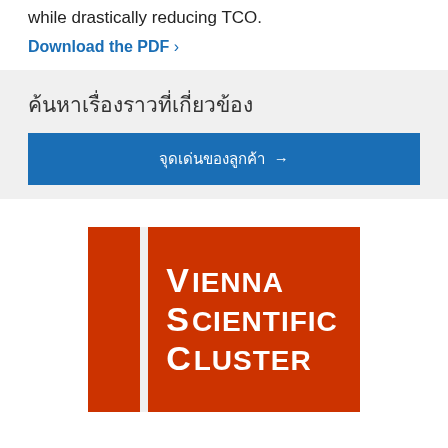while drastically reducing TCO.
Download the PDF ›
ค้นหาเรื่องราวที่เกี่ยวข้อง
จุดเด่นของลูกค้า →
[Figure (logo): Vienna Scientific Cluster logo — two red-orange rectangles (left narrow bar, right wide block) with white bold text: V IENNA / S CIENTIFIC / C LUSTER]